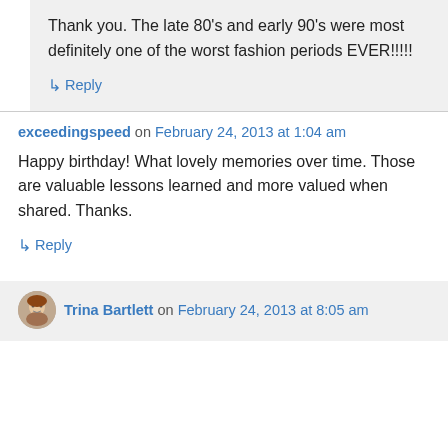Thank you. The late 80's and early 90's were most definitely one of the worst fashion periods EVER!!!!!
↳ Reply
exceedingspeed on February 24, 2013 at 1:04 am
Happy birthday! What lovely memories over time. Those are valuable lessons learned and more valued when shared. Thanks.
↳ Reply
Trina Bartlett on February 24, 2013 at 8:05 am